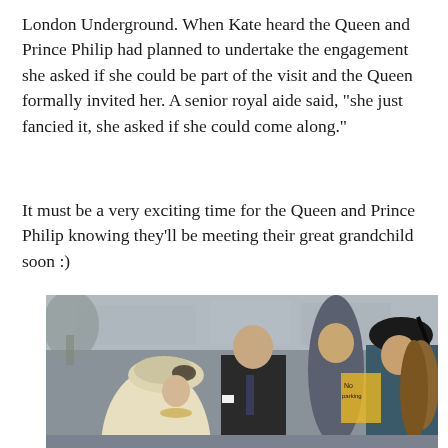London Underground. When Kate heard the Queen and Prince Philip had planned to undertake the engagement she asked if she could be part of the visit and the Queen formally invited her. A senior royal aide said, "she just fancied it, she asked if she could come along."
It must be a very exciting time for the Queen and Prince Philip knowing they'll be meeting their great grandchild soon :)
[Figure (photo): Photograph of Queen Elizabeth II in a cream hat and coat, Prince Philip in a dark suit, a man in background, and Kate Middleton in a dark teal coat and black hat, walking outdoors near a stone building.]